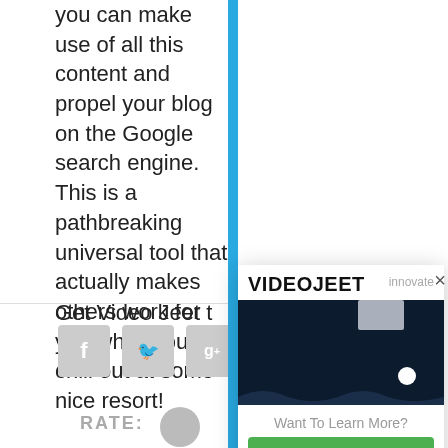you can make use of all this content and propel your blog on the Google search engine. This is a pathbreaking universal tool that actually makes others work for you while you chill out at some nice resort!
Get Video Jeet t
[Figure (screenshot): A popup overlay showing 'VIDEOJEET' title in bold, a dark blue/navy image section with a small white rectangle and white circle, text 'innovate' partially visible, 'Want To Learn More?' text, and a green 'CLICK HERE' button. A close X button is in the top right corner.]
[Figure (screenshot): Social media share icons: Facebook (f), Twitter bird, Google+ (g+), and a partially visible fourth icon, all in grey rounded square buttons.]
RATE: